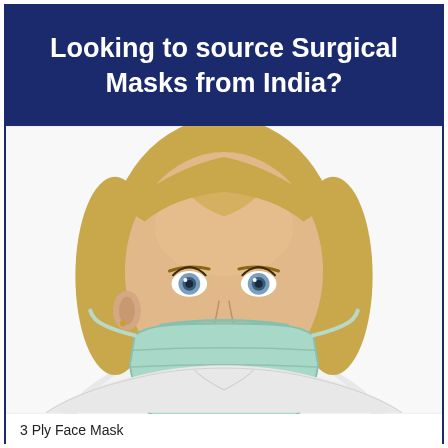Looking to source Surgical Masks from India?
[Figure (photo): A blonde female healthcare worker wearing a light blue/teal 3-ply surgical face mask, looking toward the camera, dressed in white medical attire against a white background.]
3 Ply Face Mask